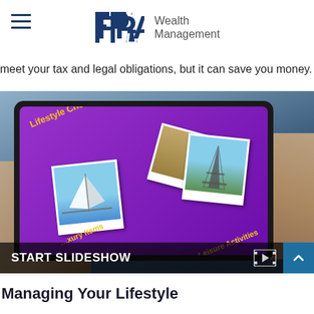FPA Wealth Management
meet your tax and legal obligations, but it can save you money.
[Figure (screenshot): A person holding a tablet showing a purple screen titled 'Lifestyle Choices: Luxury & Leisure' with polaroid photos of a sailboat and the Eiffel Tower, along with text labels 'Leisure Activities' and 'Luxury Items'. A 'START SLIDESHOW' bar appears at the bottom of the image.]
Managing Your Lifestyle